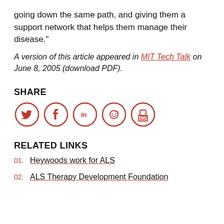going down the same path, and giving them a support network that helps them manage their disease."
A version of this article appeared in MIT Tech Talk on June 8, 2005 (download PDF).
SHARE
[Figure (infographic): Five social sharing icons in red circle outlines: Twitter bird, Facebook f, LinkedIn in, Reddit alien, and a print/share icon.]
RELATED LINKS
01. Heywoods work for ALS
02. ALS Therapy Development Foundation